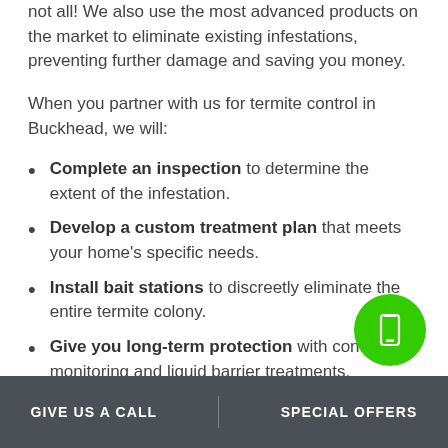not all! We also use the most advanced products on the market to eliminate existing infestations, preventing further damage and saving you money.
When you partner with us for termite control in Buckhead, we will:
Complete an inspection to determine the extent of the infestation.
Develop a custom treatment plan that meets your home's specific needs.
Install bait stations to discreetly eliminate the entire termite colony.
Give you long-term protection with continuous monitoring and liquid barrier treatments.
GIVE US A CALL    SPECIAL OFFERS